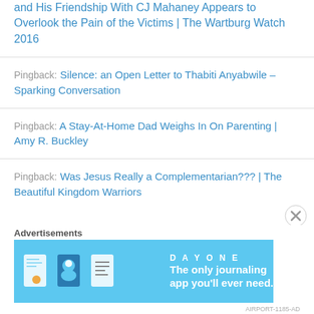and His Friendship With CJ Mahaney Appears to Overlook the Pain of the Victims | The Wartburg Watch 2016
Pingback: Silence: an Open Letter to Thabiti Anyabwile – Sparking Conversation
Pingback: A Stay-At-Home Dad Weighs In On Parenting | Amy R. Buckley
Pingback: Was Jesus Really a Complementarian??? | The Beautiful Kingdom Warriors
Advertisements
[Figure (illustration): Day One journaling app advertisement banner with light blue background, app icons, and text 'The only journaling app you'll ever need.']